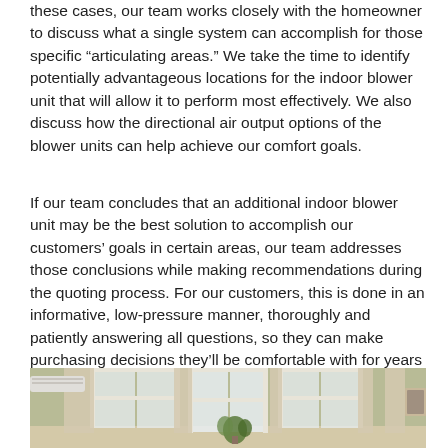these cases, our team works closely with the homeowner to discuss what a single system can accomplish for those specific “articulating areas.” We take the time to identify potentially advantageous locations for the indoor blower unit that will allow it to perform most effectively. We also discuss how the directional air output options of the blower units can help achieve our comfort goals.
If our team concludes that an additional indoor blower unit may be the best solution to accomplish our customers’ goals in certain areas, our team addresses those conclusions while making recommendations during the quoting process. For our customers, this is done in an informative, low-pressure manner, thoroughly and patiently answering all questions, so they can make purchasing decisions they’ll be comfortable with for years to come.
[Figure (photo): Interior room photo showing a wall-mounted mini-split air conditioner unit on a green wall, with large windows, white curtains, and a potted plant visible.]